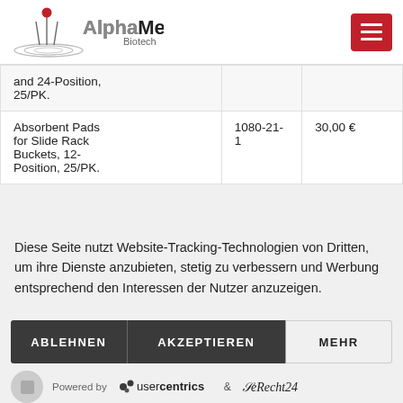AlphaMetrix Biotech
| and 24-Position, 25/PK. |  |  |
| Absorbent Pads for Slide Rack Buckets, 12-Position, 25/PK. | 1080-21-1 | 30,00 € |
Diese Seite nutzt Website-Tracking-Technologien von Dritten, um ihre Dienste anzubieten, stetig zu verbessern und Werbung entsprechend den Interessen der Nutzer anzuzeigen.
ABLEHNEN
AKZEPTIEREN
MEHR
Powered by usercentrics & eRecht24